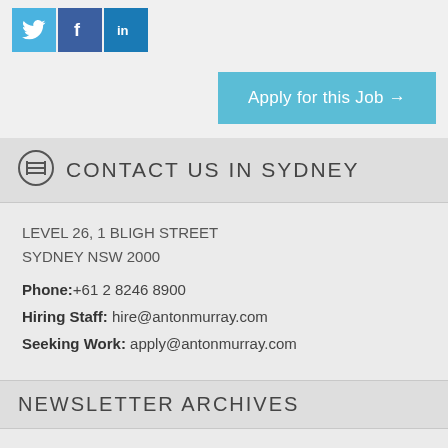[Figure (logo): Social media icons: Twitter (bird), Facebook (f), LinkedIn (in)]
Apply for this Job →
CONTACT US IN SYDNEY
LEVEL 26, 1 BLIGH STREET
SYDNEY NSW 2000
Phone:+61 2 8246 8900
Hiring Staff: hire@antonmurray.com
Seeking Work: apply@antonmurray.com
NEWSLETTER ARCHIVES
2014